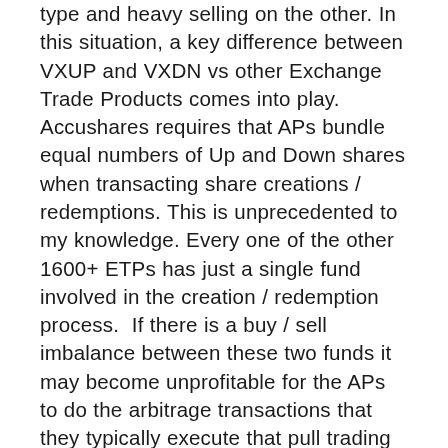type and heavy selling on the other. In this situation, a key difference between VXUP and VXDN vs other Exchange Trade Products comes into play. Accushares requires that APs bundle equal numbers of Up and Down shares when transacting share creations / redemptions. This is unprecedented to my knowledge. Every one of the other 1600+ ETPs has just a single fund involved in the creation / redemption process.  If there is a buy / sell imbalance between these two funds it may become unprofitable for the APs to do the arbitrage transactions that they typically execute that pull trading values closer to IV values. If this occurs trading and IV values of the funds might become uncoupled from each other—which is a bad thing in the ETP world.